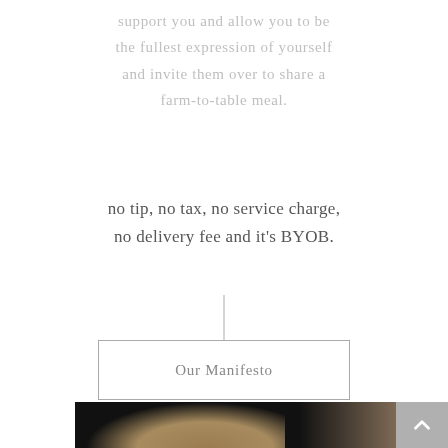support you and allow you to be the fullest expression of yourself and invite them over to share a farm-to-table meal.
no tip, no tax, no service charge, no delivery fee and it's BYOB.
Our Manifesto
[Figure (photo): Photo of a person holding a kitchen utensil, partially visible, with dark background on the left and light beige/tan tones on the right showing a person in a cap]